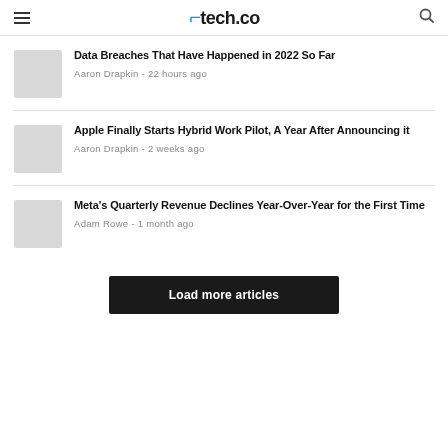tech.co
Data Breaches That Have Happened in 2022 So Far
Aaron Drapkin - 22 hours ago
Apple Finally Starts Hybrid Work Pilot, A Year After Announcing it
Aaron Drapkin - 2 weeks ago
Meta's Quarterly Revenue Declines Year-Over-Year for the First Time
Adam Rowe - 1 month ago
Load more articles